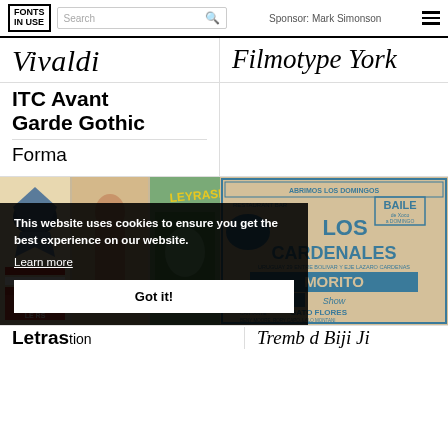FONTS IN USE | Search | Sponsor: Mark Simonson
Vivaldi
Filmotype York
ITC Avant Garde Gothic
Forma
[Figure (illustration): Letraset promotional images showing decorative lettering and illustrations]
[Figure (illustration): Los Cardenales restaurant bar flyer - vintage Mexican advertisement featuring MORITO SU GRUPO Show, GATO FLORES, MUSICA VIVA DESDE LAS 3:00 PM]
This website uses cookies to ensure you get the best experience on our website.
Learn more
Got it!